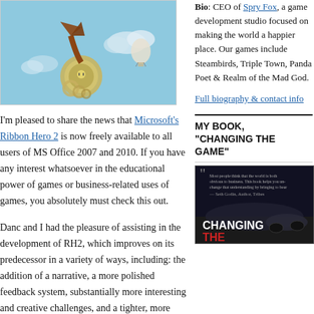[Figure (illustration): Game screenshot showing aerial/sky scene with medal character and hot air balloon, with orange banner text 'CLIPPY'S SEC...']
I'm pleased to share the news that Microsoft's Ribbon Hero 2 is now freely available to all users of MS Office 2007 and 2010. If you have any interest whatsoever in the educational power of games or business-related uses of games, you absolutely must check this out.
Danc and I had the pleasure of assisting in the development of RH2, which improves on its predecessor in a variety of ways, including: the addition of a narrative, a more polished feedback system, substantially more interesting and creative challenges, and a tighter, more
Bio: CEO of Spry Fox, a game development studio focused on making the world a happier place. Our games include Steambirds, Triple Town, Panda Poet & Realm of the Mad God.
Full biography & contact info
MY BOOK, "CHANGING THE GAME"
[Figure (photo): Book cover for 'Changing the Game' - dark cover with quote and car imagery]